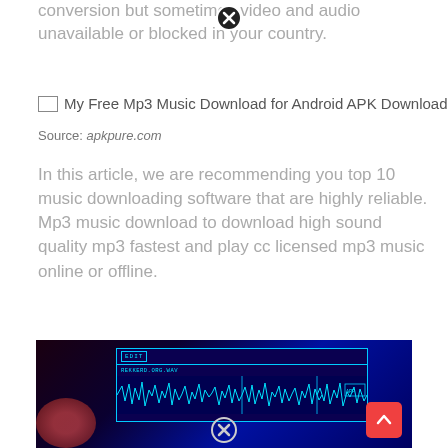conversion but sometimes video and audio unavailable or blocked in your country.
[Figure (screenshot): Broken image placeholder icon followed by text: My Free Mp3 Music Download for Android APK Download]
Source: apkpure.com
In this article, we are recommending you top 10 music downloading software that are highly reliable. Mp3 music download to download high sound quality mp3 fastest and play cc licensed mp3 music online or offline.
[Figure (photo): Close-up photo of a device screen showing a waveform audio editor with text EDIT, REKKERD.ORG.WAV, and waveform display. There is a red/orange scroll-to-top button and a close button overlay at the bottom.]